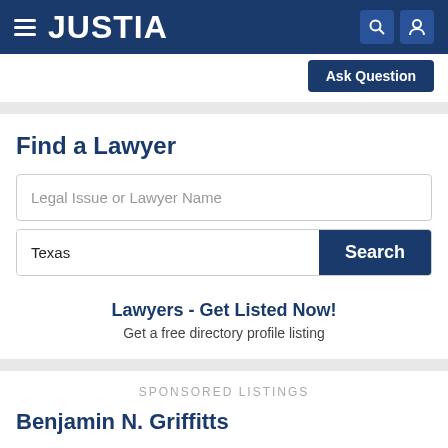JUSTIA
Ask Question
Find a Lawyer
Legal Issue or Lawyer Name
Texas
Search
Lawyers - Get Listed Now!
Get a free directory profile listing
SPONSORED LISTINGS
Benjamin N. Griffitts